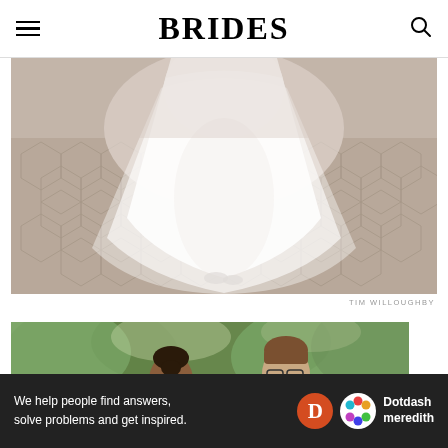BRIDES
[Figure (photo): Close-up photograph of the lower half of a white wedding dress/gown with a flowing tulle skirt and train, standing on a hexagonal stone cobblestone pavement. Soft warm-toned background.]
TIM WILLOUGHBY
[Figure (photo): Photograph of a couple at a wedding — a smiling Black woman in a white wedding dress with earrings and her hair up, and a man with glasses and brown hair in a dark suit, looking at each other, with green trees in the background.]
Ad
[Figure (infographic): Dotdash Meredith advertisement banner. Black background with white text: 'We help people find answers, solve problems and get inspired.' accompanied by a red circle D logo and the colorful Dotdash Meredith logo/icon with the brand name in white text.]